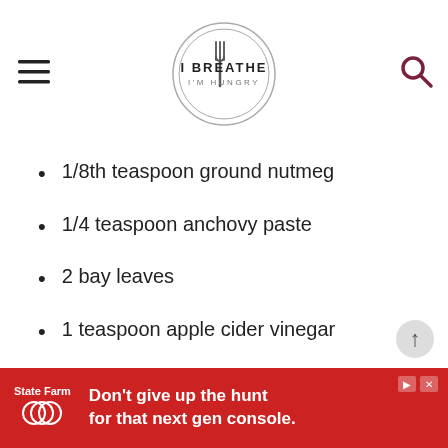I Breathe I'm Hungry
1/8th teaspoon ground nutmeg
1/4 teaspoon anchovy paste
2 bay leaves
1 teaspoon apple cider vinegar
Salt and pepper to taste
[Figure (other): State Farm advertisement banner: 'Don't give up the hunt for that next gen console.']